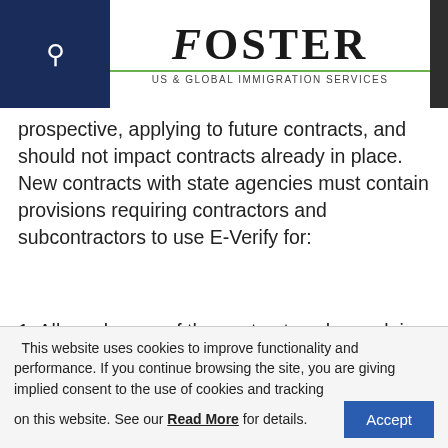Foster — US & Global Immigration Services
prospective, applying to future contracts, and should not impact contracts already in place. New contracts with state agencies must contain provisions requiring contractors and subcontractors to use E-Verify for:
1. All employees of the contractor who work in Texas during the contract term, and
2. All employees of the contractor (including
This website uses cookies to improve functionality and performance. If you continue browsing the site, you are giving implied consent to the use of cookies and tracking on this website. See our Read More for details.